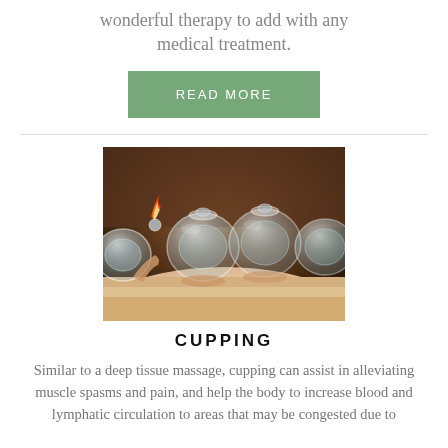wonderful therapy to add with any medical treatment.
READ MORE
[Figure (photo): Cupping therapy photo showing glass cups placed on a person's back, with one cup being applied using fire/flame technique. Multiple glass cups visible on skin.]
CUPPING
Similar to a deep tissue massage, cupping can assist in alleviating muscle spasms and pain, and help the body to increase blood and lymphatic circulation to areas that may be congested due to